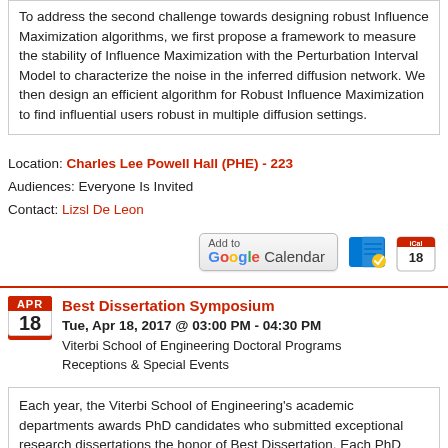To address the second challenge towards designing robust Influence Maximization algorithms, we first propose a framework to measure the stability of Influence Maximization with the Perturbation Interval Model to characterize the noise in the inferred diffusion network. We then design an efficient algorithm for Robust Influence Maximization to find influential users robust in multiple diffusion settings.
Location: Charles Lee Powell Hall (PHE) - 223
Audiences: Everyone Is Invited
Contact: Lizsl De Leon
[Figure (screenshot): Add to Google Calendar button, Outlook calendar icon, and iCal icon]
Best Dissertation Symposium
Tue, Apr 18, 2017 @ 03:00 PM - 04:30 PM
Viterbi School of Engineering Doctoral Programs
Receptions & Special Events
Each year, the Viterbi School of Engineering's academic departments awards PhD candidates who submitted exceptional research dissertations the honor of Best Dissertation. Each PhD student who receives the Best